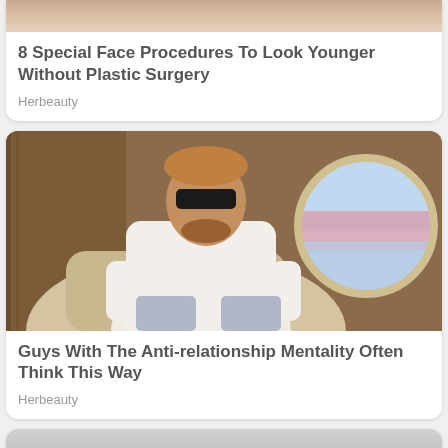[Figure (photo): Partial photo of a woman, only bottom portion visible - cropped at top of page]
8 Special Face Procedures To Look Younger Without Plastic Surgery
Herbeauty
[Figure (photo): Man in white hoodie and sunglasses sitting cross-legged in a luxury private jet seat with a round window showing sky/clouds in the background]
Guys With The Anti-relationship Mentality Often Think This Way
Herbeauty
[Figure (photo): Partial photo at bottom of page, cropped - shows what appears to be clothing or fabric]